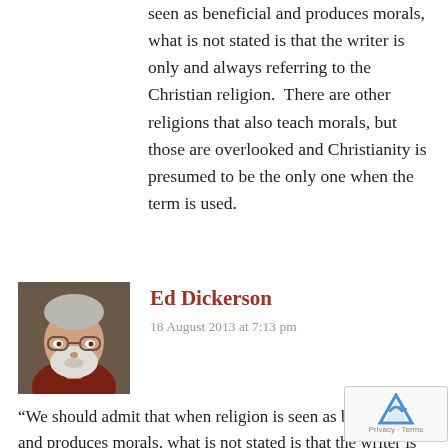seen as beneficial and produces morals, what is not stated is that the writer is only and always referring to the Christian religion.  There are other religions that also teach morals, but those are overlooked and Christianity is presumed to be the only one when the term is used.
Ed Dickerson
18 August 2013 at 7:13 pm
[Figure (photo): Profile photo of Ed Dickerson: older man with white beard and glasses, wearing a dark red shirt]
“We should admit that when religion is seen as beneficial and produces morals, what is not stated is that the writer is only and always referring to the Christian religion.”
Don’t know what writer you’re talking about, but in The Abolition of Man Lewis cites Ancient Egyptian, Babylonian, Roman, Greek, Hindu